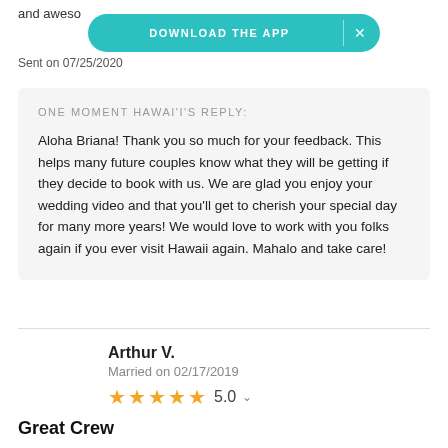and aweso…
[Figure (screenshot): DOWNLOAD THE APP banner in teal/cyan color with an X close button]
Sent on 07/25/2020
ONE MOMENT HAWAI'I'S REPLY:
Aloha Briana! Thank you so much for your feedback. This helps many future couples know what they will be getting if they decide to book with us. We are glad you enjoy your wedding video and that you'll get to cherish your special day for many more years! We would love to work with you folks again if you ever visit Hawaii again. Mahalo and take care!
Arthur V.
Married on 02/17/2019
★★★★★ 5.0
Great Crew